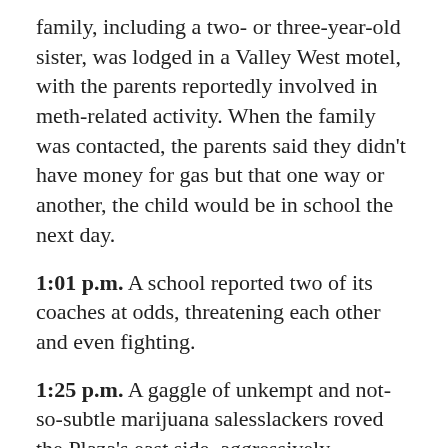family, including a two- or three-year-old sister, was lodged in a Valley West motel, with the parents reportedly involved in meth-related activity. When the family was contacted, the parents said they didn't have money for gas but that one way or another, the child would be in school the next day.
1:01 p.m. A school reported two of its coaches at odds, threatening each other and even fighting.
1:25 p.m. A gaggle of unkempt and not-so-subtle marijuana salesslackers roved the Plaza's east side, aggressively approaching passersby regarding possible budnuggetry purchases. The alpha of the crew, clad in sleeveless shirt and ponytail, lingered under a tree, easing identification and arrest.
3:59 p.m. Three people walking unleashed dogs on Beverly Drive introduced unhelpful chaos into the